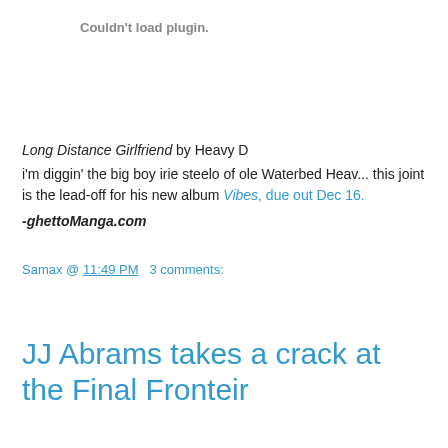Couldn't load plugin.
Long Distance Girlfriend by Heavy D
i'm diggin' the big boy irie steelo of ole Waterbed Heav... this joint is the lead-off for his new album Vibes, due out Dec 16.
-ghettoManga.com
Samax @ 11:49 PM   3 comments:
Share
JJ Abrams takes a crack at the Final Fronteir